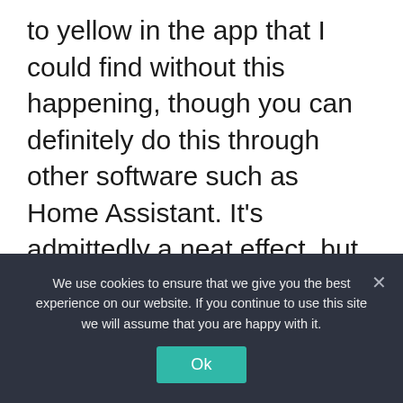to yellow in the app that I could find without this happening, though you can definitely do this through other software such as Home Assistant. It's admittedly a neat effect, but would be better as an option rather than on by default, and it really did kind of ruin the flag animation.
We use cookies to ensure that we give you the best experience on our website. If you continue to use this site we will assume that you are happy with it.